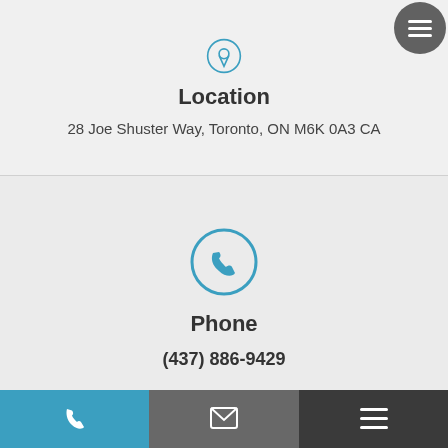[Figure (illustration): Teal circle with location pin icon at top]
Location
28 Joe Shuster Way, Toronto, ON M6K 0A3 CA
[Figure (illustration): Teal circle with phone handset icon]
Phone
(437) 886-9429
[Figure (illustration): Teal circle with envelope/email icon (partially visible)]
[Figure (illustration): Bottom navigation bar with phone icon (teal), email icon (gray), hamburger menu icon (dark)]